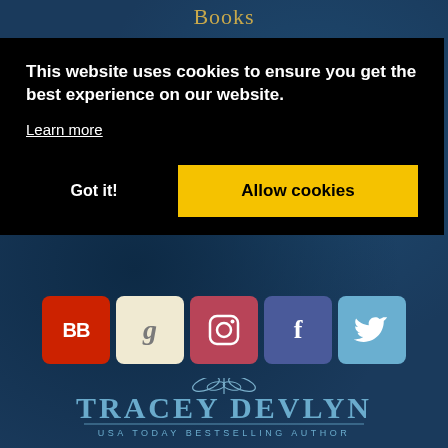Books
This website uses cookies to ensure you get the best experience on our website.
Learn more
Got it!
Allow cookies
[Figure (logo): Social media icon buttons: BB (BookBub, red), g (Goodreads, cream), Instagram camera icon (rose/red), f (Facebook, purple-blue), Twitter bird (light blue)]
[Figure (logo): Tracey Devlyn author logo with decorative butterfly/dragonfly above text 'TRACEY DEVLYN' and subtitle 'USA TODAY BESTSELLING AUTHOR' on dark blue textured background]